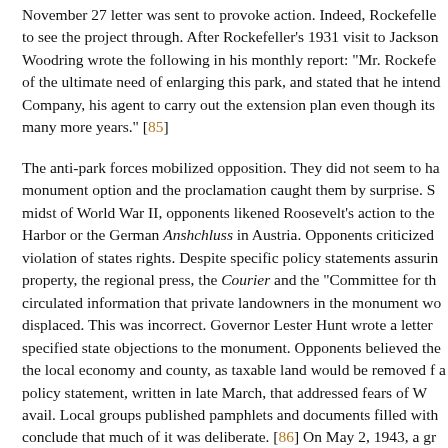November 27 letter was sent to provoke action. Indeed, Rockefelle to see the project through. After Rockefeller's 1931 visit to Jackson Woodring wrote the following in his monthly report: "Mr. Rockefe of the ultimate need of enlarging this park, and stated that he intend Company, his agent to carry out the extension plan even though its many more years." [85]
The anti-park forces mobilized opposition. They did not seem to ha monument option and the proclamation caught them by surprise. S midst of World War II, opponents likened Roosevelt's action to the Harbor or the German Anshchluss in Austria. Opponents criticized violation of states rights. Despite specific policy statements assurin property, the regional press, the Courier and the "Committee for th circulated information that private landowners in the monument wo displaced. This was incorrect. Governor Lester Hunt wrote a letter specified state objections to the monument. Opponents believed the the local economy and county, as taxable land would be removed f a policy statement, written in late March, that addressed fears of W avail. Local groups published pamphlets and documents filled with conclude that much of it was deliberate. [86] On May 2, 1943, a gr armed, gathered near the monument and trailed some 500 cattle acr confrontation. The Park Service ignored the stunt, and little would participation of Wallace Beery, the famous Hollywood actor. The d attention on the monument. Many were unaware that ranchers had the monument. Moreover, Governor Hunt raised the issue at a gove